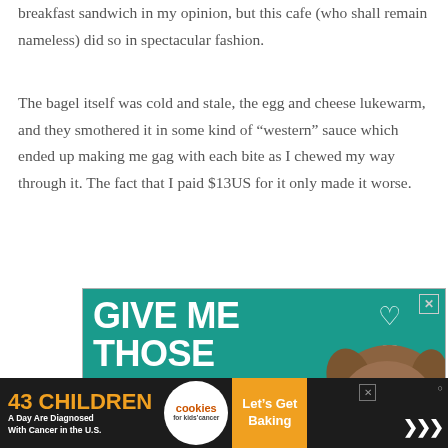breakfast sandwich in my opinion, but this cafe (who shall remain nameless) did so in spectacular fashion.
The bagel itself was cold and stale, the egg and cheese lukewarm, and they smothered it in some kind of “western” sauce which ended up making me gag with each bite as I chewed my way through it. The fact that I paid $13US for it only made it worse.
[Figure (illustration): Advertisement with teal background showing large white bold text reading 'GIVE ME THOSE PUPPY DOG' with heart outlines in upper right, and a photo of a brown dog on the right side. Has an X close button in upper right corner.]
[Figure (illustration): Bottom bar advertisement on dark background. Left side shows '43 CHILDREN A Day Are Diagnosed With Cancer in the U.S.' in orange and white text. Center shows a circular cookies for kids' cancer logo. Right side shows 'Let's Get Baking' on orange background. Has an X close button and a logo mark on the far right.]